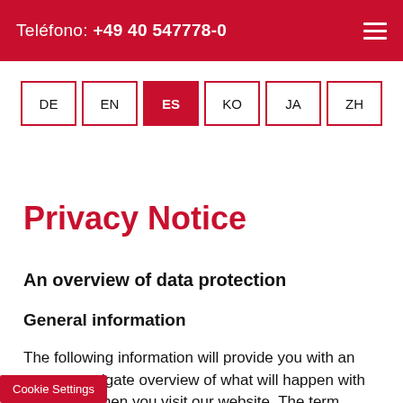Teléfono: +49 40 547778-0
[Figure (other): Language selector buttons: DE, EN, ES (active/highlighted in red), KO, JA, ZH]
Privacy Notice
An overview of data protection
General information
The following information will provide you with an easy to navigate overview of what will happen with your data when you visit our website. The term